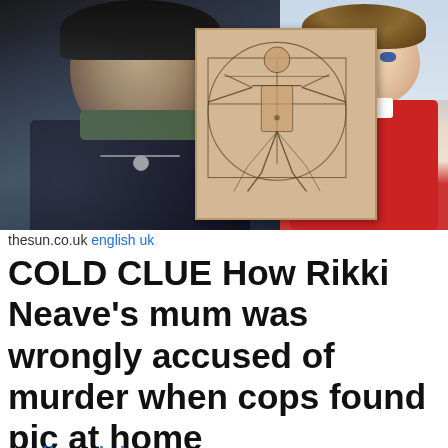[Figure (photo): Top composite image: left side shows a person in dark clothing, center overlay shows the Vitruvian Man drawing, right side shows a young child in a red top]
thesun.co.uk english uk
COLD CLUE How Rikki Neave's mum was wrongly accused of murder when cops found pic at home
Full Article
4 months
[Figure (photo): Bottom composite image: left shows a young boy with short brown hair wearing a red top, right shows a blonde woman with sunglasses wearing a dark jacket and white scarf]